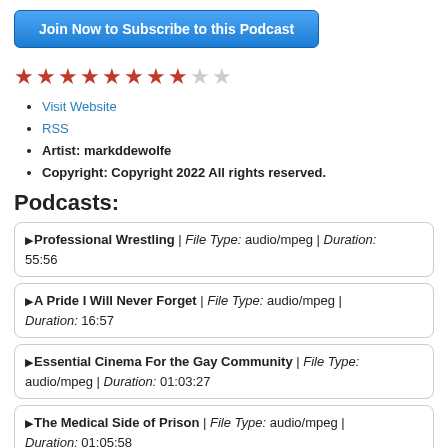Join Now to Subscribe to this Podcast
[Figure (other): Star rating: 8 out of 10 stars (8 filled red stars, 2 empty grey stars)]
Visit Website
RSS
Artist: markddewolfe
Copyright: Copyright 2022 All rights reserved.
Podcasts:
▶Professional Wrestling | File Type: audio/mpeg | Duration: 55:56
▶A Pride I Will Never Forget | File Type: audio/mpeg | Duration: 16:57
▶Essential Cinema For the Gay Community | File Type: audio/mpeg | Duration: 01:03:27
▶The Medical Side of Prison | File Type: audio/mpeg | Duration: 01:05:58
▶Working in Hell and Making It Fun | File Type: audio/mpeg |